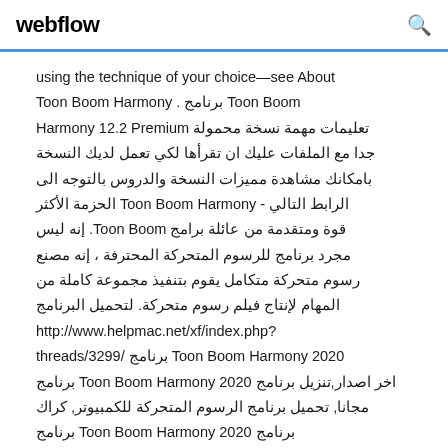webflow
using the technique of your choice—see About Toon Boom Harmony . برنامج Toon Boom Harmony 12.2 Premium تعليمات مهمة نسخة محمولة جدا مع الملفات عليك ان تقرأها لكي تعمل لديك النسخة بامكانك مشاهدة مميزات النسخة والدروس بالتوجه الى الحزمة الأكثر - Toon Boom Harmony الرابط التالي إنه ليس .Toon Boom قوة ومتقدمة من عائلة برامج مجرد برنامج للرسوم المتحركة المحترفة ، إنه مصنع رسوم متحركة متكامل يقوم بتنفيذ مجموعة كاملة من المهام لإنتاج فيلم رسوم متحركة. لتحميل البرنامج http://www.helpmac.net/xf/index.php?threads/3299/ برنامج Toon Boom Harmony 2020 برنامج Toon Boom Harmony 2020 اخر اصدار,تنزيل برنامج مجانا, تحميل برنامج الرسوم المتحركة للكمبيوتر, كراك برنامج Toon Boom Harmony 2020 برنامج